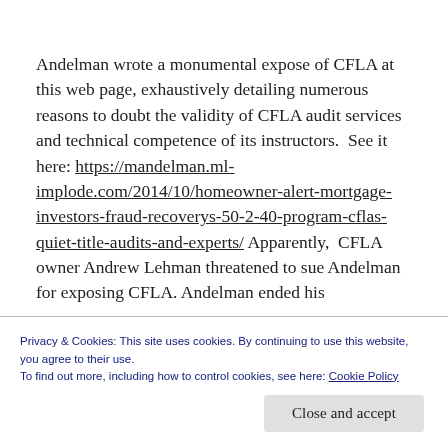Andelman wrote a monumental expose of CFLA at this web page, exhaustively detailing numerous reasons to doubt the validity of CFLA audit services and technical competence of its instructors.  See it here: https://mandelman.ml-implode.com/2014/10/homeowner-alert-mortgage-investors-fraud-recoverys-50-2-40-program-cflas-quiet-title-audits-and-experts/ Apparently,  CFLA owner Andrew Lehman threatened to sue Andelman for exposing CFLA. Andelman ended his
Privacy & Cookies: This site uses cookies. By continuing to use this website, you agree to their use.
To find out more, including how to control cookies, see here: Cookie Policy
Close and accept